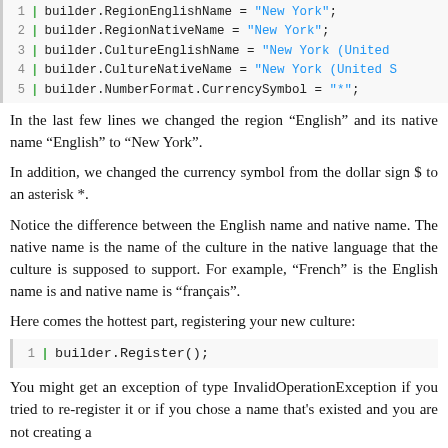[Figure (screenshot): Code block showing builder property assignments: RegionEnglishName, RegionNativeName, CultureEnglishName, CultureNativeName, NumberFormat.CurrencySymbol]
In the last few lines we changed the region “English” and its native name “English” to “New York”.
In addition, we changed the currency symbol from the dollar sign $ to an asterisk *.
Notice the difference between the English name and native name. The native name is the name of the culture in the native language that the culture is supposed to support. For example, “French” is the English name is and native name is “français”.
Here comes the hottest part, registering your new culture:
[Figure (screenshot): Code block showing: builder.Register();]
You might get an exception of type InvalidOperationException if you tried to re-register it or if you chose a name that's existed and you are not creating a